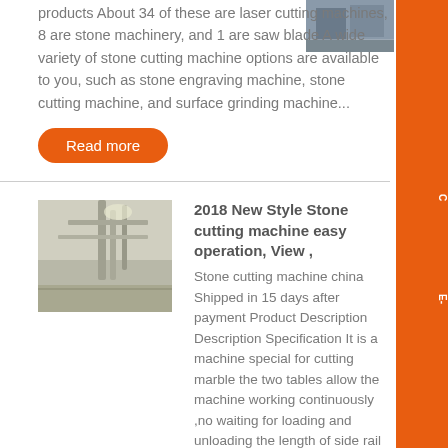products About 34 of these are laser cutting machines, 8 are stone machinery, and 1 are saw blade A wide variety of stone cutting machine options are available to you, such as stone engraving machine, stone cutting machine, and surface grinding machine...
[Figure (photo): Small thumbnail photo of industrial machinery/stone cutting equipment at top right]
Read more
[Figure (photo): Photo of industrial warehouse interior with pipes and metal structures]
2018 New Style Stone cutting machine easy operation, View ,
Stone cutting machine china Shipped in 15 days after payment Product Description Description Specification It is a machine special for cutting marble the two tables allow the machine working continuously ,no waiting for loading and unloading the length of side rail is 8 meters ....
Read more